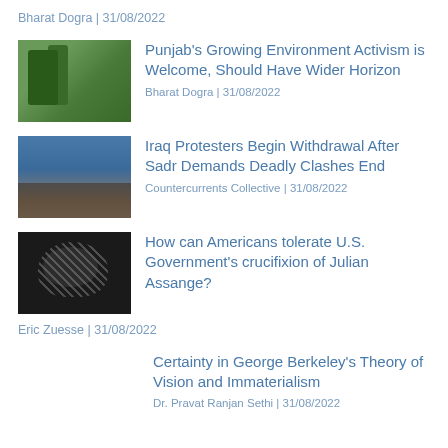Bharat Dogra | 31/08/2022
[Figure (photo): Thumbnail image of trees/forest greenery]
Punjab's Growing Environment Activism is Welcome, Should Have Wider Horizon
Bharat Dogra | 31/08/2022
[Figure (photo): Thumbnail image of crowd/protesters with blue sky]
Iraq Protesters Begin Withdrawal After Sadr Demands Deadly Clashes End
Countercurrents Collective | 31/08/2022
[Figure (photo): Dark thumbnail image showing person behind bars/hatched pattern]
How can Americans tolerate U.S. Government's crucifixion of Julian Assange?
Eric Zuesse | 31/08/2022
Certainty in George Berkeley's Theory of Vision and Immaterialism
Dr. Pravat Ranjan Sethi | 31/08/2022